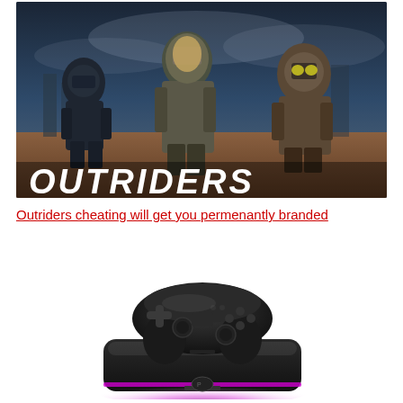[Figure (photo): Outriders video game promotional image showing three armored characters in a sci-fi/post-apocalyptic setting with the OUTRIDERS logo at the bottom]
Outriders cheating will get you permenantly branded
[Figure (photo): Black gaming controller resting on a black charging dock with purple/pink LED accent lighting around the base]